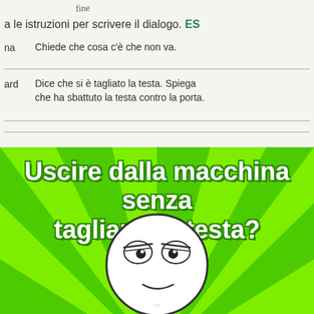fine (handwritten)
a le istruzioni per scrivere il dialogo. ES
na   Chiede che cosa c'è che non va.
ard  Dice che si è tagliato la testa. Spiega che ha sbattuto la testa contro la porta.
[Figure (illustration): Internet meme image with bright green starburst/rays background and a round cartoon face (the 'Aww Yeah' or 'Okay guy' meme face) with a smug/thinking expression, overlaid with bold white Italian text: 'Uscire dalla macchina senza tagliarsi la testa?']